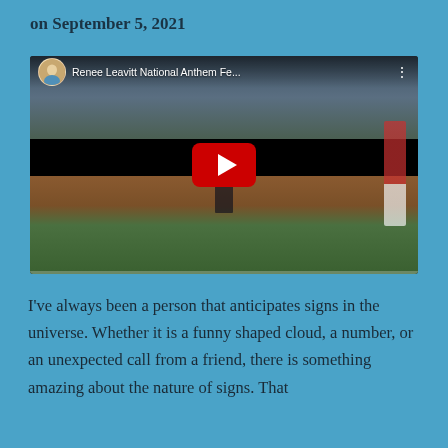on September 5, 2021
[Figure (screenshot): YouTube video thumbnail showing Renee Leavitt singing the National Anthem at a baseball stadium. Title bar reads 'Renee Leavitt National Anthem Fe...' with a circular profile photo and menu dots. Large red YouTube play button in center. A woman stands on the baseball field with a packed stadium crowd in the background.]
I've always been a person that anticipates signs in the universe. Whether it is a funny shaped cloud, a number, or an unexpected call from a friend, there is something amazing about the nature of signs. That